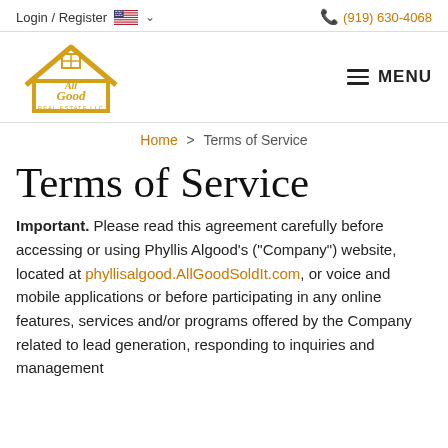Login / Register  (919) 630-4068
[Figure (logo): All Good Real Estate LLC logo — a gold house outline with 'All Good Real Estate LLC' text inside]
Home > Terms of Service
Terms of Service
Important. Please read this agreement carefully before accessing or using Phyllis Algood's ("Company") website, located at phyllisalgood.AllGoodSoldIt.com, or voice and mobile applications or before participating in any online features, services and/or programs offered by the Company related to lead generation, responding to inquiries and management